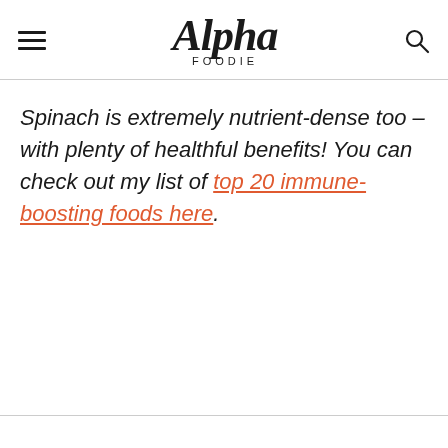Alpha Foodie
Spinach is extremely nutrient-dense too – with plenty of healthful benefits! You can check out my list of top 20 immune-boosting foods here.